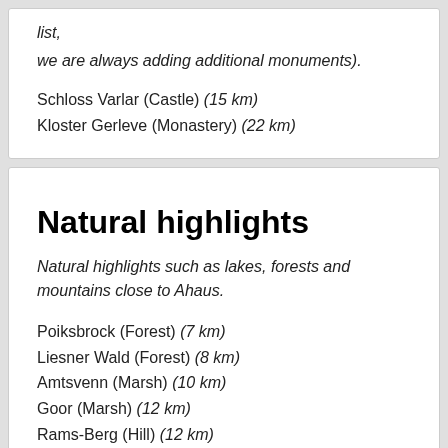list,
we are always adding additional monuments).
Schloss Varlar (Castle) (15 km)
Kloster Gerleve (Monastery) (22 km)
Natural highlights
Natural highlights such as lakes, forests and mountains close to Ahaus.
Poiksbrock (Forest) (7 km)
Liesner Wald (Forest) (8 km)
Amtsvenn (Marsh) (10 km)
Goor (Marsh) (12 km)
Rams-Berg (Hill) (12 km)
Lohner Heide (Heath) (15 km)